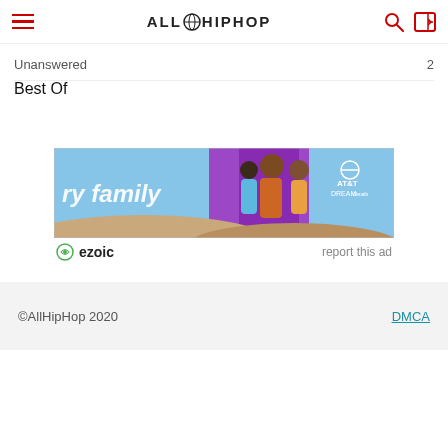AllHipHop (site header with hamburger menu, logo, search and login icons)
Unanswered
Best Of
[Figure (photo): AT&T advertisement banner showing 'ry family' text on blue background with three women posing, mountain scenery, AT&T DREAM logo in top right corner]
ezoic   report this ad
©AllHipHop 2020    DMCA